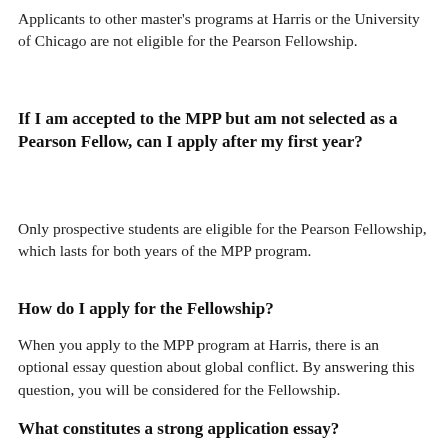Applicants to other master's programs at Harris or the University of Chicago are not eligible for the Pearson Fellowship.
If I am accepted to the MPP but am not selected as a Pearson Fellow, can I apply after my first year?
Only prospective students are eligible for the Pearson Fellowship, which lasts for both years of the MPP program.
How do I apply for the Fellowship?
When you apply to the MPP program at Harris, there is an optional essay question about global conflict. By answering this question, you will be considered for the Fellowship.
What constitutes a strong application essay?